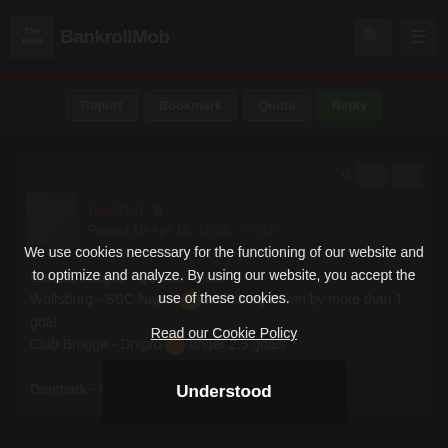The BankrollMob
Report  Bookmark  Quote  Reply
pochui
Posted 16-Apr-15, 11:26  #4812
Europa League - Quarter-finals:
Wolfsburg - SSC Napoli 😆 wolfsburg to win by more than 1 goal
Club Brugge - Dnipro 😆 under 2.5 goals

Denmark - NordicBet Ligaen:
We use cookies necessary for the functioning of our website and to optimize and analyze. By using our website, you accept the use of these cookies.
Read our Cookie Policy
Understood